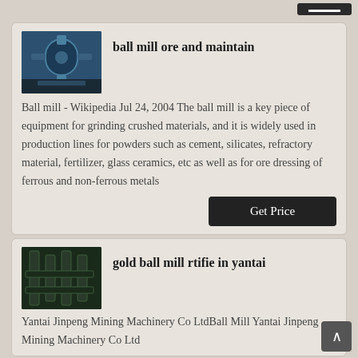ball mill ore and maintain

Ball mill - Wikipedia Jul 24, 2004 The ball mill is a key piece of equipment for grinding crushed materials, and it is widely used in production lines for powders such as cement, silicates, refractory material, fertilizer, glass ceramics, etc as well as for ore dressing of ferrous and non-ferrous metals
gold ball mill rtifie in yantai

Yantai Jinpeng Mining Machinery Co LtdBall Mill Yantai Jinpeng Mining Machinery Co Ltd